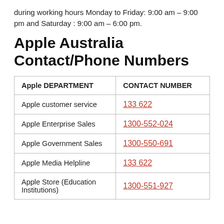during working hours Monday to Friday: 9:00 am – 9:00 pm and Saturday : 9:00 am – 6:00 pm.
Apple Australia Contact/Phone Numbers
| Apple DEPARTMENT | CONTACT NUMBER |
| --- | --- |
| Apple customer service | 133 622 |
| Apple Enterprise Sales | 1300-552-024 |
| Apple Government Sales | 1300-550-691 |
| Apple Media Helpline | 133 622 |
| Apple Store (Education Institutions) | 1300-551-927 |